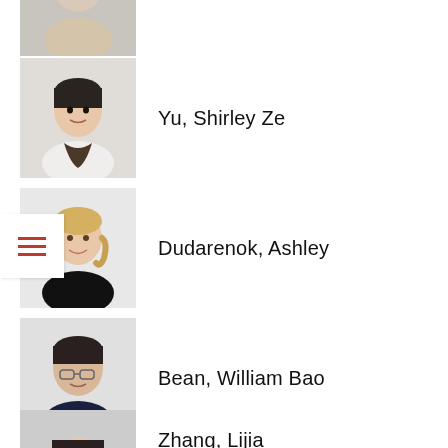[Figure (photo): Headshot of an older man with glasses and light hair, wearing a beige shirt]
Yu, Shirley Ze
[Figure (photo): Headshot of an Asian woman with short dark hair and a patterned scarf]
Dudarenok, Ashley
[Figure (photo): Headshot of a blonde woman smiling, wearing a black top]
Bean, William Bao
[Figure (photo): Headshot of a young man with glasses and dark hair, wearing a dark shirt]
Zhang, Lijia